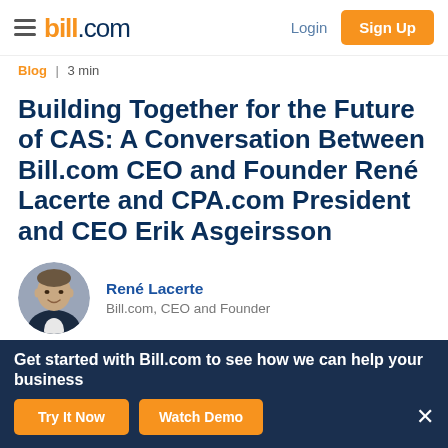bill.com | Login | Sign Up
Blog | 3 min
Building Together for the Future of CAS: A Conversation Between Bill.com CEO and Founder René Lacerte and CPA.com President and CEO Erik Asgeirsson
René Lacerte
Bill.com, CEO and Founder
[Figure (photo): Circular headshot of René Lacerte]
[Figure (infographic): Social media icons: Twitter, Facebook, LinkedIn, Email]
Get started with Bill.com to see how we can help your business
Try It Now | Watch Demo